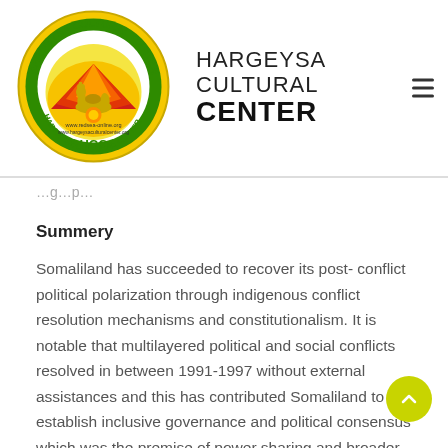[Figure (logo): Hargeysa Cultural Center circular logo with HCC text, camel and sun imagery, green border with organization name]
HARGEYSA CULTURAL CENTER
...g...p...
Summery
Somaliland has succeeded to recover its post- conflict political polarization through indigenous conflict resolution mechanisms and constitutionalism. It is notable that multilayered political and social conflicts resolved in between 1991-1997 without external assistances and this has contributed Somaliland to establish inclusive governance and political consensus which was the premise of power sharing and broader political and clans reconciliation.